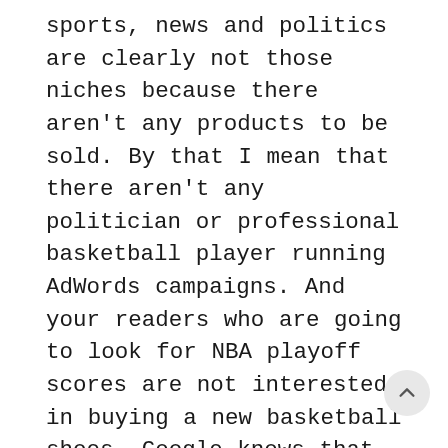sports, news and politics are clearly not those niches because there aren't any products to be sold. By that I mean that there aren't any politician or professional basketball player running AdWords campaigns. And your readers who are going to look for NBA playoff scores are not interested in buying a new basketball shoes. Google knows that and they are not going to pay you you as they would in other niches. For example if you would review basketball shoes on your blog then your revenue per thousand impressions (RPM) would be several times higher. Also CTR would be higher because users would be actually interest